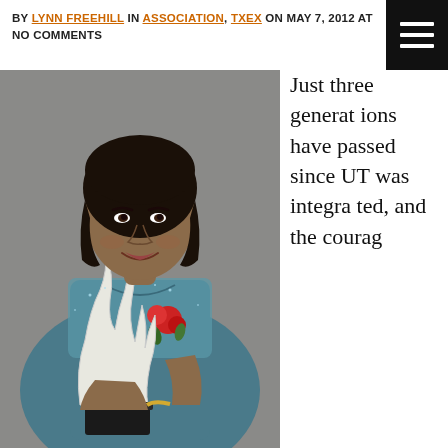BY LYNN FREEHILL IN ASSOCIATION, TXEX ON MAY 7, 2012 AT  NO COMMENTS
[Figure (photo): A woman in a teal lace-trimmed evening gown holds a flame-shaped award trophy, smiling at the camera in a formal event setting.]
Just three generations have passed since UT was integrated, and the courag